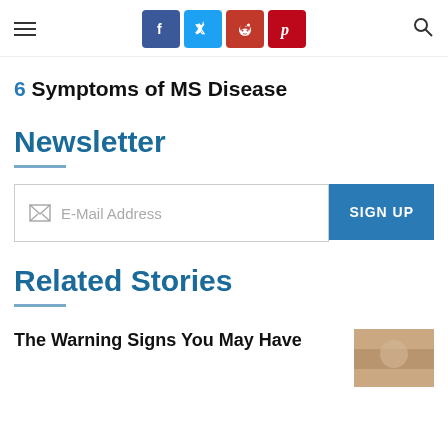Social sharing icons: Facebook, Twitter, Reddit, Pinterest. Navigation hamburger and search.
6 Symptoms of MS Disease
Newsletter
E-Mail Address | SIGN UP
Related Stories
The Warning Signs You May Have